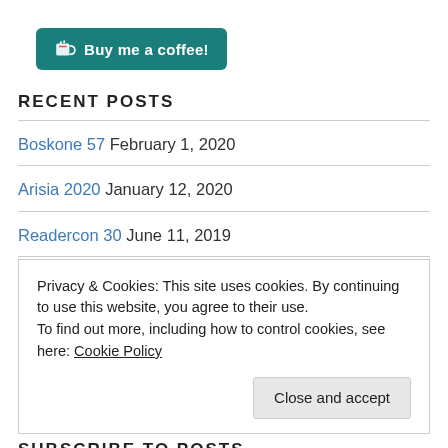[Figure (other): Buy me a coffee button — teal rounded rectangle with coffee cup icon and white bold text]
RECENT POSTS
Boskone 57 February 1, 2020
Arisia 2020 January 12, 2020
Readercon 30 June 11, 2019
Boskone 2019 February 10, 2019
Readercon 29 July 1, 2018
Privacy & Cookies: This site uses cookies. By continuing to use this website, you agree to their use.
To find out more, including how to control cookies, see here: Cookie Policy
SUBSCRIBE TO POSTS